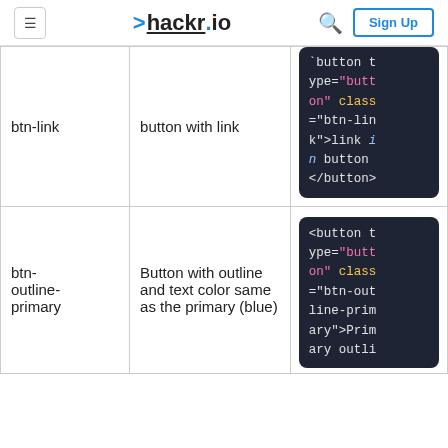hackr.io — Sign Up
| btn-link | button with link | <button type="button" class="btn-link">link in button</button> |
| btn-outline-primary | Button with outline and text color same as the primary (blue) | <button type="button" class="btn-outline-primary">Primary outli... |